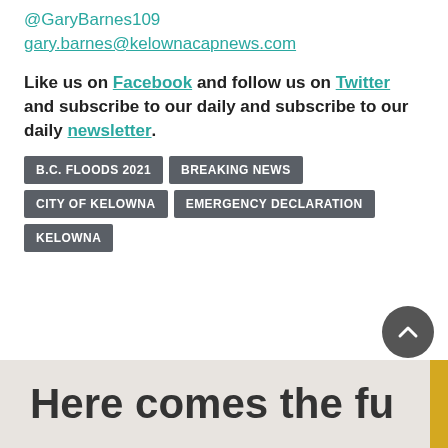@GaryBarnes109
gary.barnes@kelownacapnews.com
Like us on Facebook and follow us on Twitter and subscribe to our daily and subscribe to our daily newsletter.
B.C. FLOODS 2021
BREAKING NEWS
CITY OF KELOWNA
EMERGENCY DECLARATION
KELOWNA
[Figure (other): Scroll to top circular button with upward chevron arrow]
[Figure (other): Partial advertisement banner reading 'Here comes the fu' with yellow accent strip on right edge]